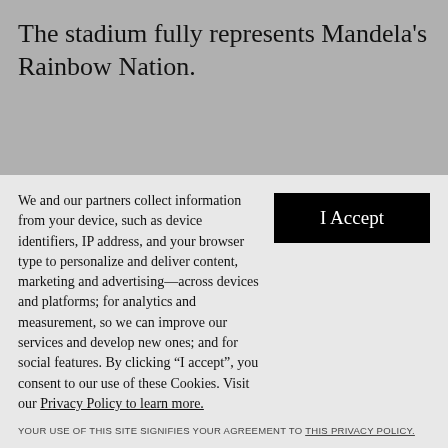The stadium fully represents Mandela's Rainbow Nation.
We and our partners collect information from your device, such as device identifiers, IP address, and your browser type to personalize and deliver content, marketing and advertising—across devices and platforms; for analytics and measurement, so we can improve our services and develop new ones; and for social features. By clicking “I accept”, you consent to our use of these Cookies. Visit our Privacy Policy to learn more.
YOUR USE OF THIS SITE SIGNIFIES YOUR AGREEMENT TO THIS PRIVACY POLICY.